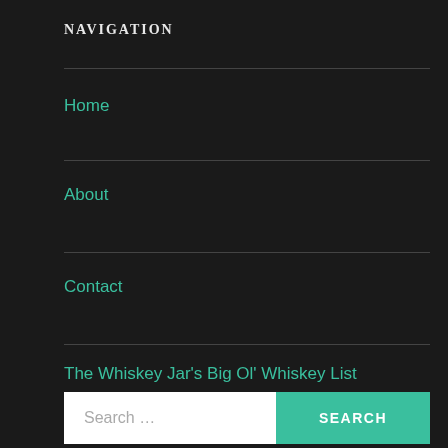NAVIGATION
Home
About
Contact
The Whiskey Jar's Big Ol' Whiskey List
Search ...